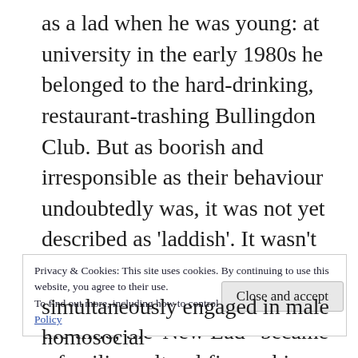as a lad when he was young: at university in the early 1980s he belonged to the hard-drinking, restaurant-trashing Bullingdon Club. But as boorish and irresponsible as their behaviour undoubtedly was, it was not yet described as 'laddish'. It wasn't until the 1990s that the 'lad'—or as he was sometimes called at the time, the 'New Lad'–became a familiar cultural figure, his laddish enthusiasms both codified and celebrated in a clutch of popular 'lad mags' like Loaded and FHM
Privacy & Cookies: This site uses cookies. By continuing to use this website, you agree to their use.
To find out more, including how to control cookies, see here: Cookie Policy
Close and accept
simultaneously engaged in male homosocial